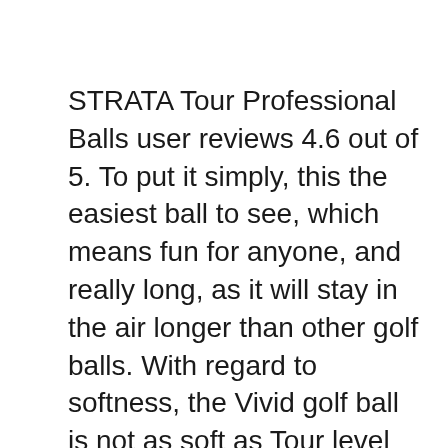STRATA Tour Professional Balls user reviews 4.6 out of 5. To put it simply, this the easiest ball to see, which means fun for anyone, and really long, as it will stay in the air longer than other golf balls. With regard to softness, the Vivid golf ball is not as soft as Tour level balls, feeling more like a Srixon Z Star, yet it feels quite soft вЂ¦ Amazon.in: Buy Strata Men's Tour Advanced Golf Balls-Pack of 12, White online at low price in India on Amazon.in. Check out Strata Men's Tour Advanced Golf Balls-Pack of 12, White reviews, ratings, specifications and more at Amazon.in. Free Shipping, Cash